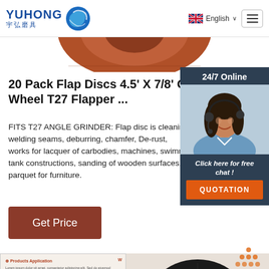YUHONG 宇弘磨具 — English
[Figure (photo): Partial view of a brown/rust colored flap disc grinding wheel visible at the top of the page]
20 Pack Flap Discs 4.5' X 7/8' Grinding Wheel T27 Flapper ...
FITS T27 ANGLE GRINDER: Flap disc is cleaning welding seams, deburring, chamfer, De-rust, works for lacquer of carbodies, machines, tank constructions, sanding of wooden surfaces, parquet for furniture.
[Figure (photo): Customer service representative woman wearing headset, part of 24/7 Online chat panel with dark blue background, 'Click here for free chat!' text, and QUOTATION orange button]
Get Price
[Figure (photo): Bottom section showing a product application document page on the left and a dark circular abrasive disc in the center, with a TOP icon (orange dots pyramid) on the right]